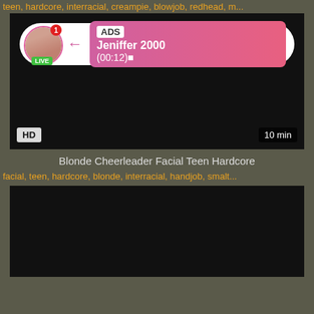teen, hardcore, interracial, creampie, blowjob, redhead, m...
[Figure (screenshot): Dark video thumbnail with an ad overlay showing a live user 'Jeniffer 2000' with (00:12) timer, HD badge bottom-left, 10 min badge bottom-right]
Blonde Cheerleader Facial Teen Hardcore
facial, teen, hardcore, blonde, interracial, handjob, smalt...
[Figure (screenshot): Dark video thumbnail, mostly black]